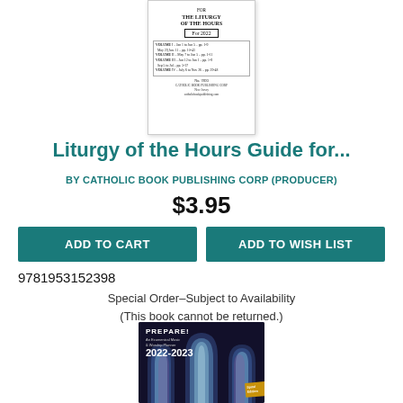[Figure (photo): Book cover for 'Liturgy of the Hours Guide' published by Catholic Book Publishing Corp, white cover with title and volume information table, For 2022]
Liturgy of the Hours Guide for...
BY CATHOLIC BOOK PUBLISHING CORP (PRODUCER)
$3.95
ADD TO CART
ADD TO WISH LIST
9781953152398
Special Order–Subject to Availability
(This book cannot be returned.)
[Figure (photo): Book cover for PREPARE! An Ecumenical Music & Worship Planner 2022-2023, dark blue cover with stained glass cathedral windows imagery]